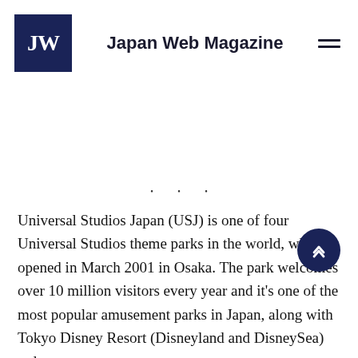Japan Web Magazine
[Figure (logo): JW logo — white letters JW on dark navy square background]
Universal Studios Japan (USJ) is one of four Universal Studios theme parks in the world, which opened in March 2001 in Osaka. The park welcomes over 10 million visitors every year and it's one of the most popular amusement parks in Japan, along with Tokyo Disney Resort (Disneyland and DisneySea) today.